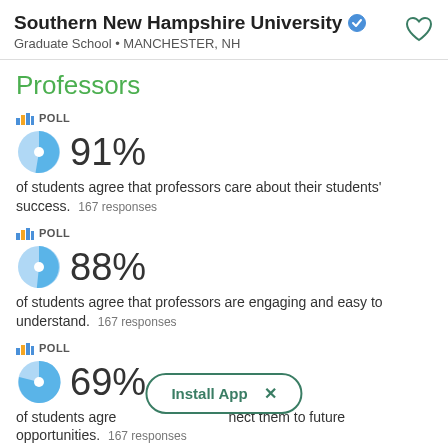Southern New Hampshire University • Graduate School • MANCHESTER, NH
Professors
[Figure (pie-chart): POLL]
91%
of students agree that professors care about their students' success.  167 responses
[Figure (pie-chart): POLL]
88%
of students agree that professors are engaging and easy to understand.  167 responses
[Figure (pie-chart): POLL]
69%
of students agree that professors connect them to future opportunities.  167 responses
Install App  ×